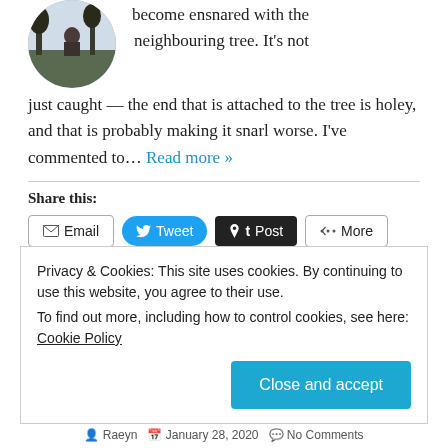[Figure (photo): Circular avatar photo showing a person in a wintry outdoor scene with trees]
become ensnared with the neighbouring tree. It's not just caught — the end that is attached to the tree is holey, and that is probably making it snarl worse. I've commented to… Read more »
Share this:
Email | Tweet | Post | More
Like this:
Loading...
Privacy & Cookies: This site uses cookies. By continuing to use this website, you agree to their use.
To find out more, including how to control cookies, see here: Cookie Policy
Raeyn  January 28, 2020  No Comments